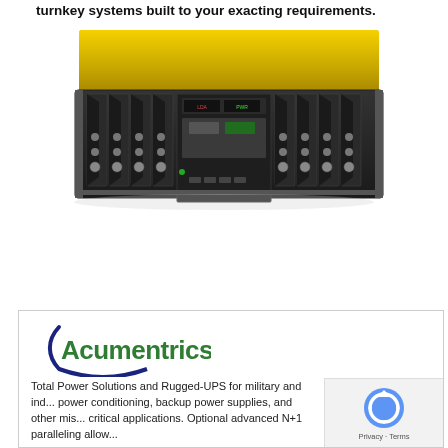turnkey systems built to your exacting requirements.
[Figure (photo): A rack-mounted server or rugged computing unit with a bright yellow top panel and black front face featuring multiple drive bays with black blade handles and indicators.]
[Figure (logo): Acumentrics logo: green bold text 'Acumentrics' with a dark blue curved underline arc forming a partial ellipse around the left and bottom of the text.]
Total Power Solutions and Rugged-UPS for military and ind... power conditioning, backup power supplies, and other mis... critical applications. Optional advanced N+1 paralleling allow...